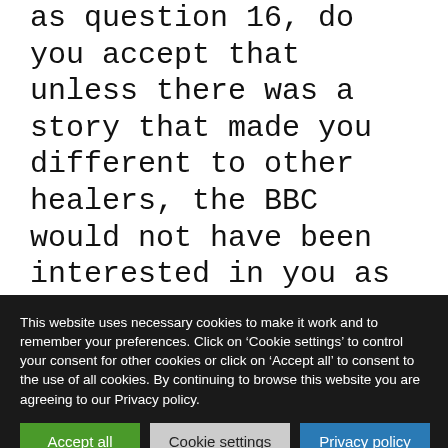as question 16, do you accept that unless there was a story that made you different to other healers, the BBC would not have been interested in you as you would have behaved as just “any other healer”? 18) You often claim that
This website uses necessary cookies to make it work and to remember your preferences. Click on ‘Cookie settings’ to control your consent for other cookies or click on ‘Accept all’ to consent to the use of all cookies. By continuing to browse this website you are agreeing to our Privacy policy.
Accept all | Cookie settings | Privacy policy